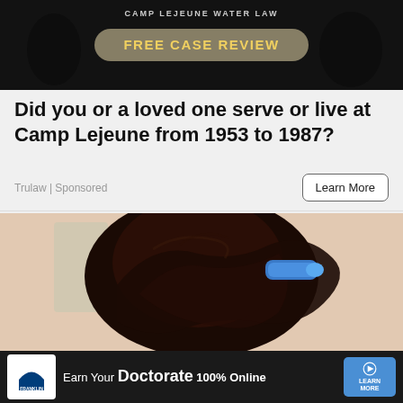[Figure (photo): Dark advertisement banner with 'FREE CASE REVIEW' button in gold text on rounded rectangle, military/law enforcement imagery in background]
Did you or a loved one serve or live at Camp Lejeune from 1953 to 1987?
Trulaw | Sponsored
Learn More
[Figure (photo): Woman with dark hair clipped up with a blue hair clip, viewed from behind, in a bathroom setting with blurred background]
[Figure (photo): Bottom advertisement banner for Franklin University: 'Earn Your Doctorate 100% Online' with Learn More button]